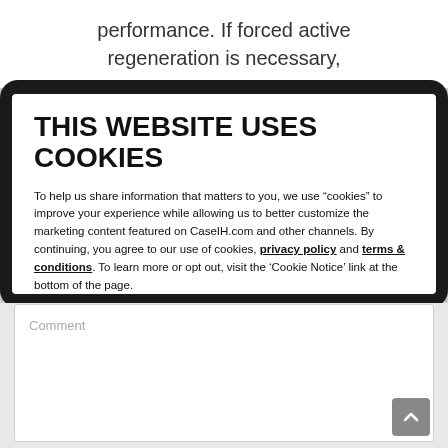performance. If forced active regeneration is necessary,
THIS WEBSITE USES COOKIES
To help us share information that matters to you, we use "cookies" to improve your experience while allowing us to better customize the marketing content featured on CaseIH.com and other channels. By continuing, you agree to our use of cookies, privacy policy and terms & conditions. To learn more or opt out, visit the 'Cookie Notice' link at the bottom of the page.
AGREE, LET'S GO
Settings and more information
Comment